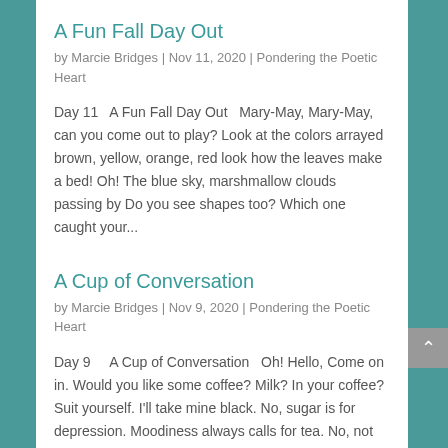A Fun Fall Day Out
by Marcie Bridges | Nov 11, 2020 | Pondering the Poetic Heart
Day 11   A Fun Fall Day Out   Mary-May, Mary-May, can you come out to play? Look at the colors arrayed brown, yellow, orange, red look how the leaves make a bed! Oh! The blue sky, marshmallow clouds passing by Do you see shapes too? Which one caught your...
A Cup of Conversation
by Marcie Bridges | Nov 9, 2020 | Pondering the Poetic Heart
Day 9     A Cup of Conversation   Oh! Hello, Come on in. Would you like some coffee? Milk? In your coffee? Suit yourself. I'll take mine black. No, sugar is for depression. Moodiness always calls for tea. No, not